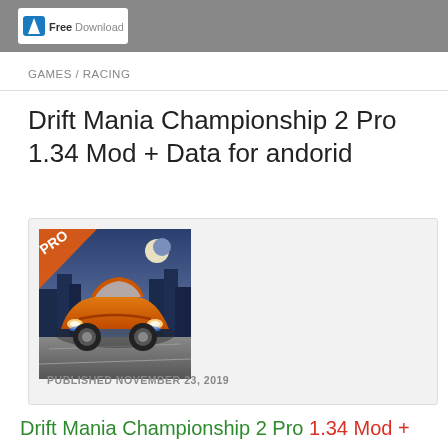Free Download (logo/header bar)
GAMES / RACING
Drift Mania Championship 2 Pro 1.34 Mod + Data for andorid
[Figure (screenshot): Game app icon/screenshot showing an orange sports car with PRO badge, moonlit city background. Published November 23, 2019.]
PUBLISHED NOVEMBER 23, 2019
Drift Mania Championship 2 Pro 1.34 Mod +